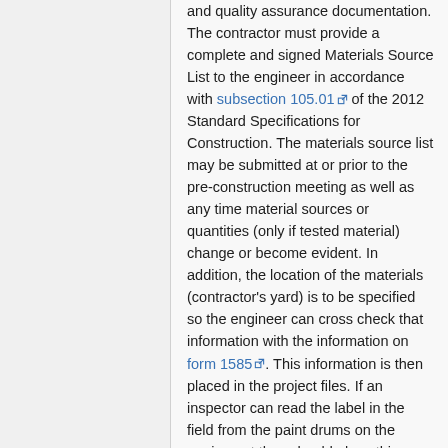and quality assurance documentation. The contractor must provide a complete and signed Materials Source List to the engineer in accordance with subsection 105.01 of the 2012 Standard Specifications for Construction. The materials source list may be submitted at or prior to the pre-construction meeting as well as any time material sources or quantities (only if tested material) change or become evident. In addition, the location of the materials (contractor's yard) is to be specified so the engineer can cross check that information with the information on form 1585. This information is then placed in the project files. If an inspector can read the label in the field from the paint drums on the equipment they should place this information on an IDR.